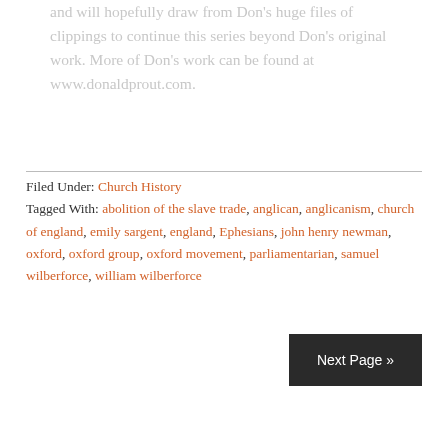and will hopefully draw from Don's huge files of clippings to continue this series beyond Don's original work. More of Don's work can be found at www.donaldprout.com.
Filed Under: Church History
Tagged With: abolition of the slave trade, anglican, anglicanism, church of england, emily sargent, england, Ephesians, john henry newman, oxford, oxford group, oxford movement, parliamentarian, samuel wilberforce, william wilberforce
Next Page »